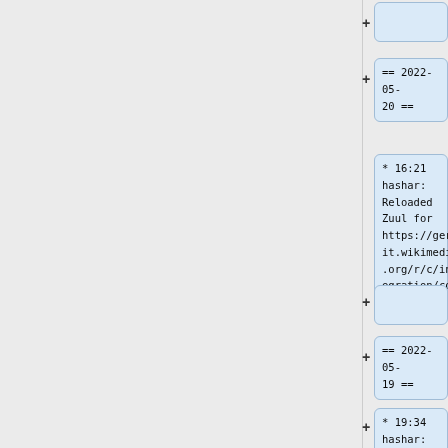+
== 2022-05-20 ==
* 16:21 hashar: Reloaded Zuul for https://gerrit.wikimedia.org/r/c/integration/config/+/793809
+
== 2022-05-19 ==
* 19:34 hashar: Reloaded